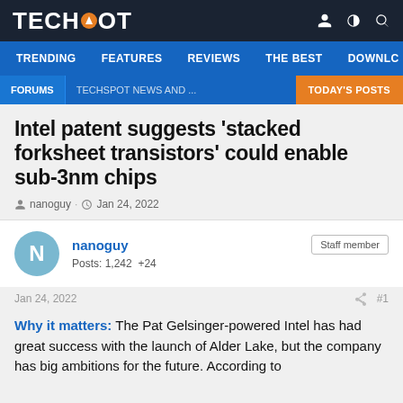TECHSPOT
TRENDING | FEATURES | REVIEWS | THE BEST | DOWNLC
FORUMS | TECHSPOT NEWS AND ... | TODAY'S POSTS
Intel patent suggests 'stacked forksheet transistors' could enable sub-3nm chips
nanoguy · Jan 24, 2022
nanoguy
Posts: 1,242  +24
Staff member
Jan 24, 2022  #1
Why it matters: The Pat Gelsinger-powered Intel has had great success with the launch of Alder Lake, but the company has big ambitions for the future. According to